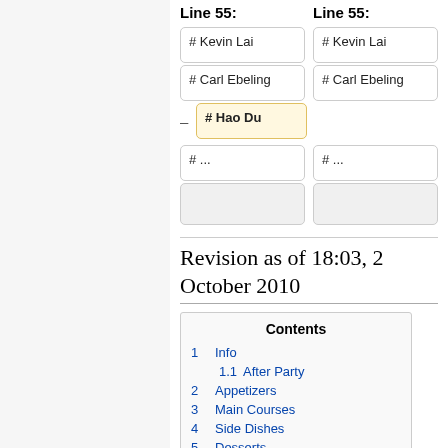Line 55:
Line 55:
# Kevin Lai
# Kevin Lai
# Carl Ebeling
# Carl Ebeling
# Hao Du
# ...
# ...
Revision as of 18:03, 2 October 2010
| Contents |
| --- |
| 1  Info |
| 1.1  After Party |
| 2  Appetizers |
| 3  Main Courses |
| 4  Side Dishes |
| 5  Desserts |